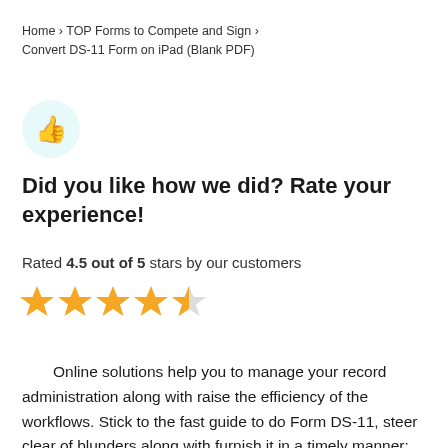Home › TOP Forms to Compete and Sign › Convert DS-11 Form on iPad (Blank PDF)
[Figure (illustration): Thumbs up icon in a light teal circular background]
Did you like how we did? Rate your experience!
Rated 4.5 out of 5 stars by our customers
[Figure (other): 4.5 out of 5 stars rating shown as four full gold stars and one half gold star]
Online solutions help you to manage your record administration along with raise the efficiency of the workflows. Stick to the fast guide to do Form DS-11, steer clear of blunders along with furnish it in a timely manner: